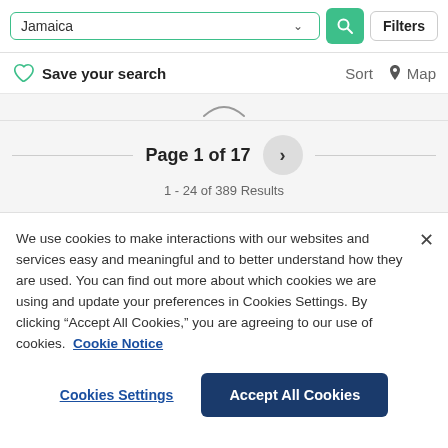Jamaica — search bar with Filters button
Save your search   Sort   Map
[Figure (screenshot): Partial property listing card top arc visible]
Page 1 of 17
1 - 24 of 389 Results
We use cookies to make interactions with our websites and services easy and meaningful and to better understand how they are used. You can find out more about which cookies we are using and update your preferences in Cookies Settings. By clicking "Accept All Cookies," you are agreeing to our use of cookies.  Cookie Notice
Cookies Settings   Accept All Cookies